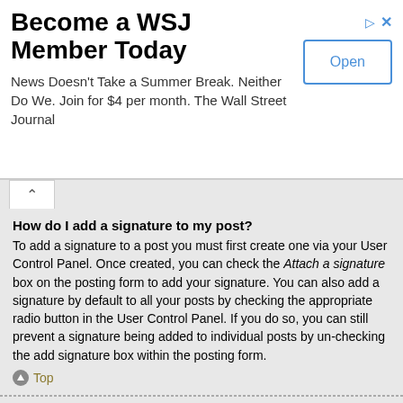[Figure (other): WSJ advertisement banner: 'Become a WSJ Member Today' with subtitle 'News Doesn't Take a Summer Break. Neither Do We. Join for $4 per month. The Wall Street Journal' and an 'Open' button]
How do I add a signature to my post?
To add a signature to a post you must first create one via your User Control Panel. Once created, you can check the Attach a signature box on the posting form to add your signature. You can also add a signature by default to all your posts by checking the appropriate radio button in the User Control Panel. If you do so, you can still prevent a signature being added to individual posts by un-checking the add signature box within the posting form.
Top
How do I create a poll?
When posting a new topic or editing the first post of a topic, click the "Poll creation" tab below the main posting form; if you cannot see this, you do not have appropriate permissions to create polls. Enter a title and at least two options in the appropriate fields, making sure each option is on a separate line in the textarea. You can also set the number of options users may select during voting under "Options per user", a time limit in days for the poll (0 for infinite duration) and lastly the option to allow users to amend their votes.
Top